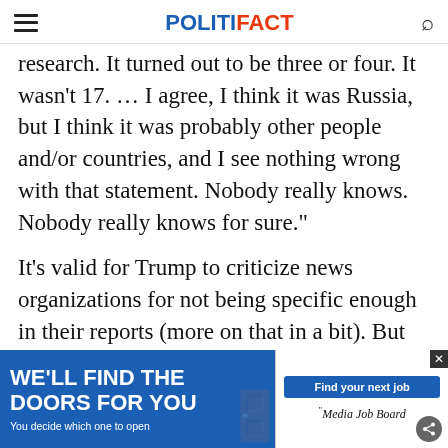POLITIFACT
research. It turned out to be three or four. It wasn’t 17. … I agree, I think it was Russia, but I think it was probably other people and/or countries, and I see nothing wrong with that statement. Nobody really knows. Nobody really knows for sure."
It’s valid for Trump to criticize news organizations for not being specific enough in their reports (more on that in a bit). But this does not invalidate the report by the CIA, FBI, NSA and Director of National Intelligence… their… that
[Figure (advertisement): Ad banner: 'WE'LL FIND THE DOORS FOR YOU - You decide which one to open' on blue background with 'Find your next job' button and Media Job Board logo on white background.]